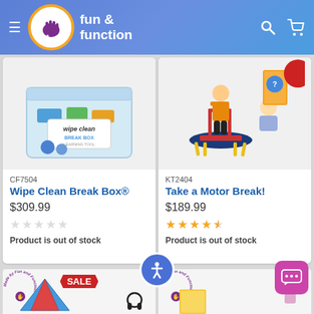Fun & Function
[Figure (photo): Wipe Clean Break Box product image - a clear plastic bin with blue items and a label]
CF7504
Wipe Clean Break Box®
$309.99
[Figure (other): 5 empty star rating (0 stars filled)]
Product is out of stock
[Figure (photo): Take a Motor Break product image - child on mini trampoline and girl on exercise ball]
KT2404
Take a Motor Break!
$189.99
[Figure (other): 4.5 star rating (4 stars filled, 1 half)]
Product is out of stock
[Figure (photo): Bottom banner showing two product previews with SALE tag, tent/headphones on left, person on right. Made by Fun and Function branding.]